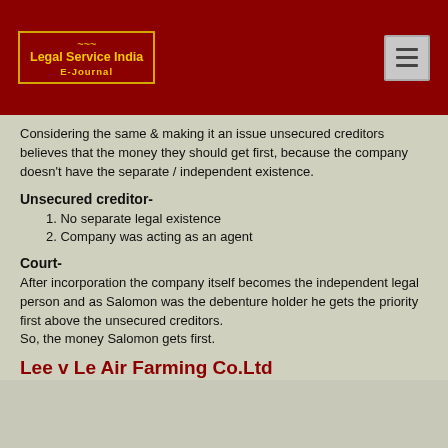Legal Service India E-Journal
Considering the same & making it an issue unsecured creditors believes that the money they should get first, because the company doesn't have the separate / independent existence.
Unsecured creditor-
1. No separate legal existence
2. Company was acting as an agent
Court-
After incorporation the company itself becomes the independent legal person and as Salomon was the debenture holder he gets the priority first above the unsecured creditors.
So, the money Salomon gets first.
Lee v Le Air Farming Co.Ltd